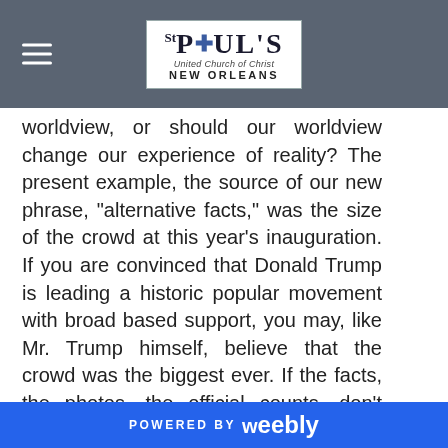St Paul's United Church of Christ New Orleans
worldview, or should our worldview change our experience of reality? The present example, the source of our new phrase, "alternative facts," was the size of the crowd at this year's inauguration. If you are convinced that Donald Trump is leading a historic popular movement with broad based support, you may, like Mr. Trump himself, believe that the crowd was the biggest ever. If the facts, the photos, the official counts, don't support your belief, then you simply look for alternative facts to support your conclusion. What is true is what you already certain of, and if the facts
POWERED BY weebly